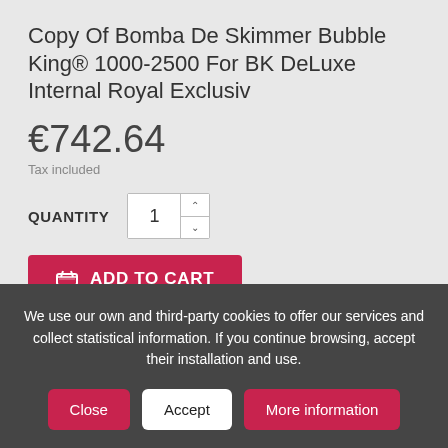Copy Of Bomba De Skimmer Bubble King® 1000-2500 For BK DeLuxe Internal Royal Exclusiv
€742.64
Tax included
QUANTITY 1
ADD TO CART
We use our own and third-party cookies to offer our services and collect statistical information. If you continue browsing, accept their installation and use.
Close
Accept
More information